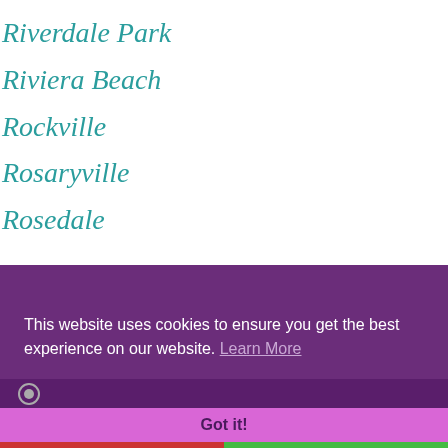Riverdale Park
Riviera Beach
Rockville
Rosaryville
Rosedale
This website uses cookies to ensure you get the best experience on our website. Learn More
Got it!